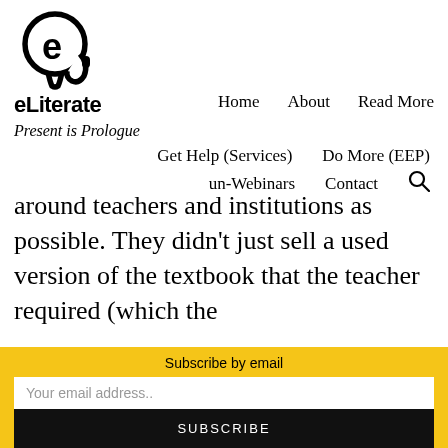[Figure (logo): eLiterate logo: circular icon with stylized 'e' inside a head silhouette, followed by bold text 'eLiterate']
Home   About   Read More
Present is Prologue
Get Help (Services)   Do More (EEP)
un-Webinars   Contact 🔍
around teachers and institutions as possible. They didn't just sell a used version of the textbook that the teacher required (which the
Subscribe by email
Your email address..
SUBSCRIBE